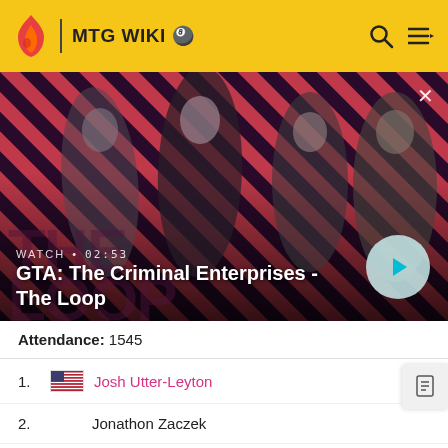MTG WIKI
[Figure (screenshot): GTA: The Criminal Enterprises - The Loop promotional video thumbnail with characters on a diagonal striped red/dark background. WATCH • 02:53 label and play button visible.]
Attendance: 1545
1. Josh Utter-Leyton
2. Jonathon Zaczek
3. Gerry Thompson
4. Sam Black